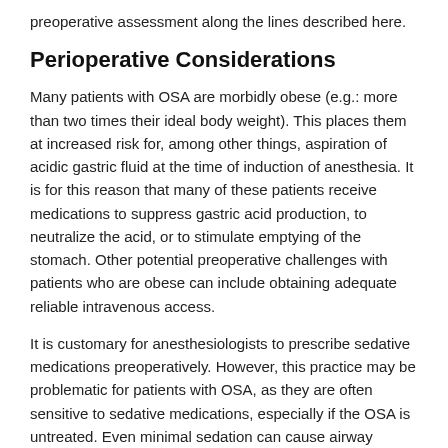preoperative assessment along the lines described here.
Perioperative Considerations
Many patients with OSA are morbidly obese (e.g.: more than two times their ideal body weight). This places them at increased risk for, among other things, aspiration of acidic gastric fluid at the time of induction of anesthesia. It is for this reason that many of these patients receive medications to suppress gastric acid production, to neutralize the acid, or to stimulate emptying of the stomach. Other potential preoperative challenges with patients who are obese can include obtaining adequate reliable intravenous access.
It is customary for anesthesiologists to prescribe sedative medications preoperatively. However, this practice may be problematic for patients with OSA, as they are often sensitive to sedative medications, especially if the OSA is untreated. Even minimal sedation can cause airway obstruction and ventilatory arrest. Therefore, many anesthesiologists do not give preoperative sedatives to patients with OSA.